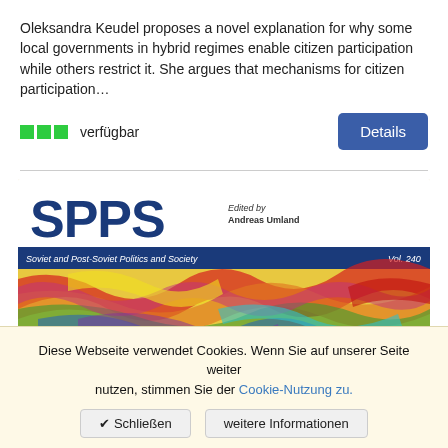Oleksandra Keudel proposes a novel explanation for why some local governments in hybrid regimes enable citizen participation while others restrict it. She argues that mechanisms for citizen participation…
verfügbar
[Figure (illustration): SPPS book cover — Soviet and Post-Soviet Politics and Society, Vol. 240, Edited by Andreas Umland. Features colorful abstract swirling pattern artwork.]
Diese Webseite verwendet Cookies. Wenn Sie auf unserer Seite weiter nutzen, stimmen Sie der Cookie-Nutzung zu.
✔ Schließen
weitere Informationen